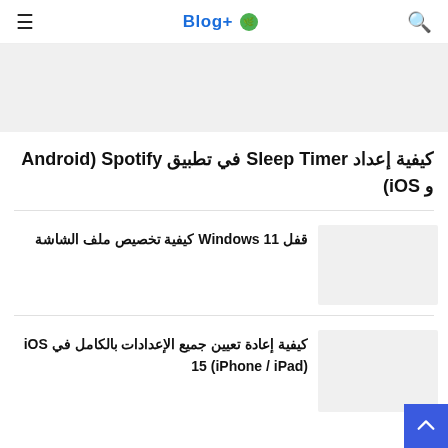Blog+
[Figure (photo): Hero image placeholder (light gray background)]
كيفية إعداد Sleep Timer في تطبيق Spotify (Android و iOS)
قفل Windows 11 كيفية تخصيص ملف الشاشة
كيفية إعادة تعيين جميع الإعدادات بالكامل في iOS 15 (iPhone / iPad)